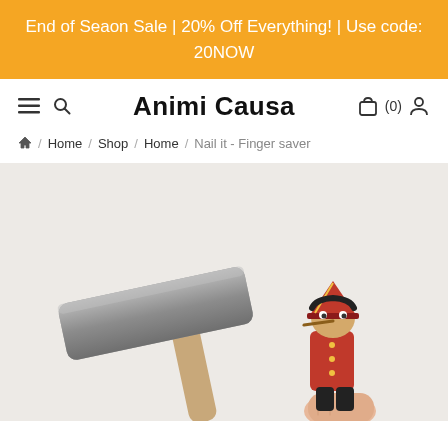End of Seaon Sale | 20% Off Everything! | Use code: 20NOW
Animi Causa
Home / Shop / Home / Nail it - Finger saver
[Figure (photo): Photo of a hammer next to a small Pinocchio finger puppet toy. A hand is holding the Pinocchio figure while a wooden hammer head looms close to it.]